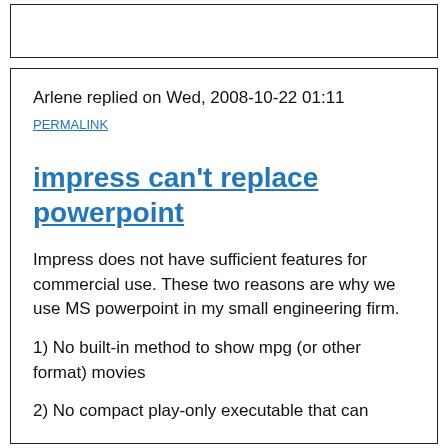Arlene replied on Wed, 2008-10-22 01:11
PERMALINK
impress can't replace powerpoint
Impress does not have sufficient features for commercial use. These two reasons are why we use MS powerpoint in my small engineering firm.
1) No built-in method to show mpg (or other format) movies
2) No compact play-only executable that can